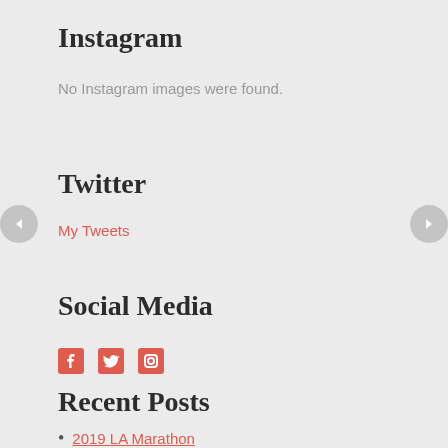Instagram
No Instagram images were found.
Twitter
My Tweets
Social Media
[Figure (infographic): Social media icons: Facebook, Twitter, Instagram in red/orange color]
Recent Posts
2019 LA Marathon